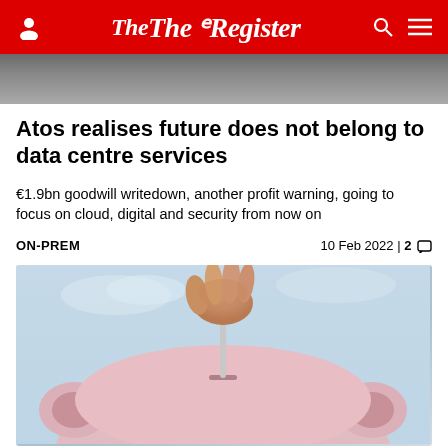The Register
[Figure (photo): Partial top image showing people in background, cropped]
Atos realises future does not belong to data centre services
€1.9bn goodwill writedown, another profit warning, going to focus on cloud, digital and security from now on
ON-PREM   10 Feb 2022 | 2
[Figure (photo): Pink piggy bank being fed a coin, hand holding coin above slot, blue sky background]